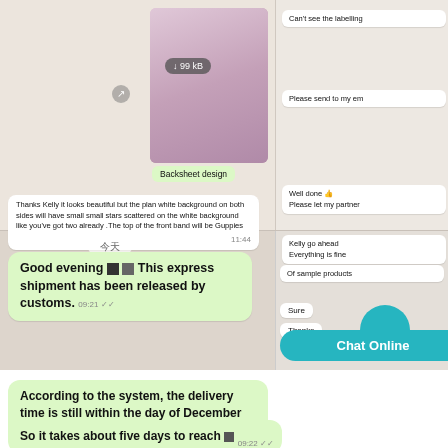[Figure (screenshot): WhatsApp conversation screenshot showing two panels side by side. Left panel shows chat messages on a beige/tan background. Right panel shows additional messages. Messages include discussion about backsheet design, stars on white background, customs release, delivery by December 30 2019, and a Chat Online button.]
Backsheet design
Can't see the labelling
Please send to my em
Well done 👍 Please let my partner
Thanks Kelly it looks beautiful but the plan white background on both sides will have small small stars scattered on the white background like you've got two already .The top of the front band will be Guppies
Kelly go ahead Everything is fine
今天
Of sample products
Good evening 🔲 🌿 This express shipment has been released by customs. 09:21
According to the system, the delivery time is still within the day of December 30, 2019. 09:21
So it takes about five days to reach 🔲 09:22
Sure
Thanks
Chat Online